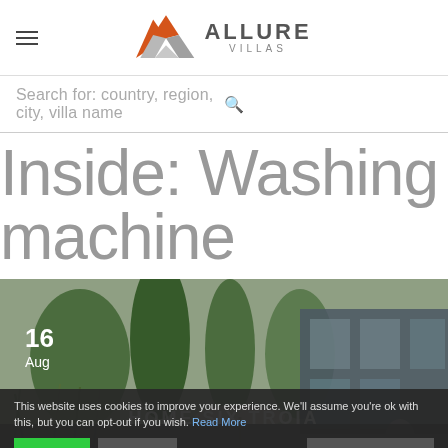Allure Villas logo and navigation
Search for: country, region, city, villa name
Inside: Washing machine
[Figure (photo): Outdoor photo of a villa with garden, trees, glass facade, umbrella and fountain. Date badge shows 16 Aug. Villa name overlay reads HOME SIX TROIA.]
This website uses cookies to improve your experience. We'll assume you're ok with this, but you can opt-out if you wish. Read More
Accept | Decline | Cookie Settings